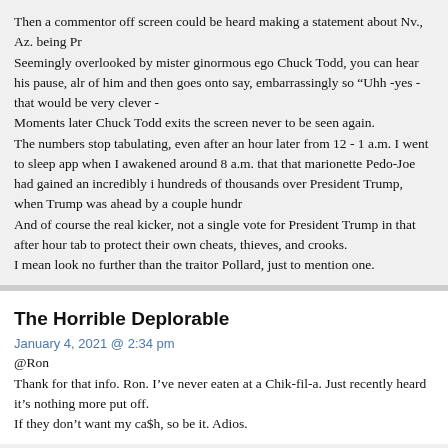Then a commentor off screen could be heard making a statement about Nv., Az. being Pr
Seemingly overlooked by mister ginormous ego Chuck Todd, you can hear his pause, alr of him and then goes onto say, embarrassingly so “Uhh -yes - that would be very clever -
Moments later Chuck Todd exits the screen never to be seen again.
The numbers stop tabulating, even after an hour later from 12 - 1 a.m. I went to sleep app when I awakened around 8 a.m. that that marionette Pedo-Joe had gained an incredibly i hundreds of thousands over President Trump, when Trump was ahead by a couple hundr
And of course the real kicker, not a single vote for President Trump in that after hour tab to protect their own cheats, thieves, and crooks.
I mean look no further than the traitor Pollard, just to mention one.
The Horrible Deplorable
January 4, 2021 @ 2:34 pm
@Ron
Thank for that info. Ron. I’ve never eaten at a Chik-fil-a. Just recently heard it’s nothing more put off.
If they don’t want my ca$h, so be it. Adios.